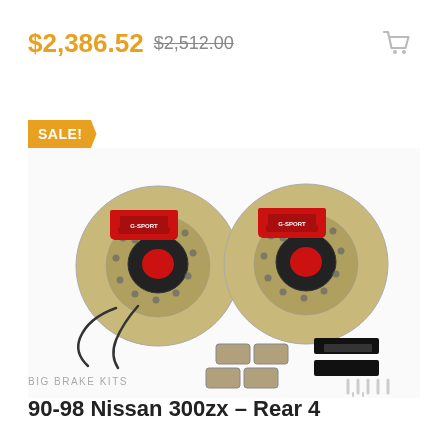$2,386.52  $2,512.00
[Figure (photo): Product photo of a big brake kit for 90-98 Nissan 300zx rear, showing two drilled/slotted rotors with red calipers, brake pads, brake lines, hardware]
SALE!
BIG BRAKE KITS
90-98 Nissan 300zx – Rear 4